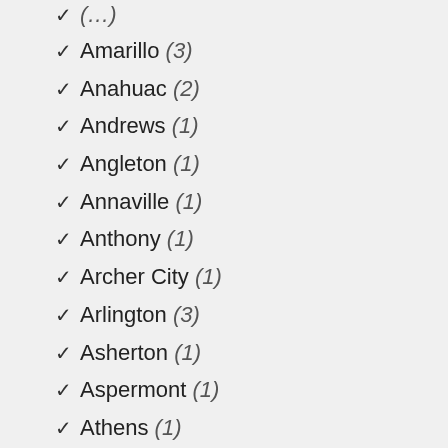(...)
✓ Amarillo (3)
✓ Anahuac (2)
✓ Andrews (1)
✓ Angleton (1)
✓ Annaville (1)
✓ Anthony (1)
✓ Archer City (1)
✓ Arlington (3)
✓ Asherton (1)
✓ Aspermont (1)
✓ Athens (1)
✓ Atlanta (1)
✓ Austin (9)
✓ Azle (1)